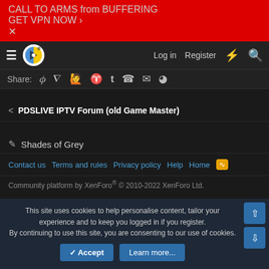CALL TO ARMS from BUFFERING
GET VPN NOW >
[Figure (screenshot): Navigation bar with hamburger menu, site logo, Log in, Register, lightning bolt and search icons]
Share:
< PDSLIVE IPTV Forum (old Game Master)
Shades of Grey
Contact us  Terms and rules  Privacy policy  Help  Home
Community platform by XenForo® © 2010-2022 XenForo Ltd.
This site uses cookies to help personalise content, tailor your experience and to keep you logged in if you register.
By continuing to use this site, you are consenting to our use of cookies.